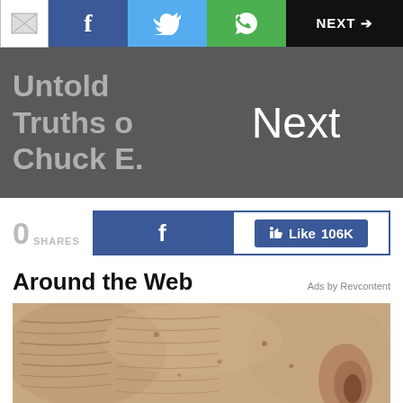NEXT →
Untold Truths o Chuck E.
Next
0 SHARES
f   👍 Like 106K
Around the Web
Ads by Revcontent
[Figure (photo): Close-up photo of aged human skin showing wrinkles and texture near an ear]